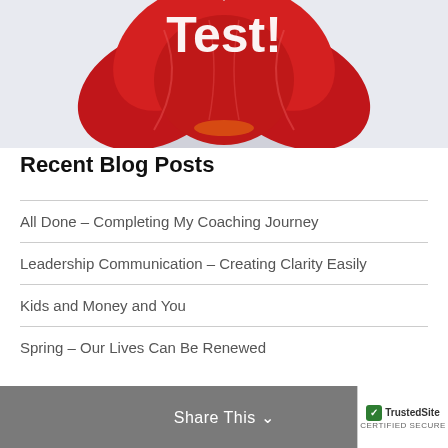[Figure (illustration): Red flower/poppy illustration with white text 'Test!' partially visible at top, on a light gray background]
Recent Blog Posts
All Done – Completing My Coaching Journey
Leadership Communication – Creating Clarity Easily
Kids and Money and You
Spring – Our Lives Can Be Renewed
STOP!
Share This  TrustedSite CERTIFIED SECURE